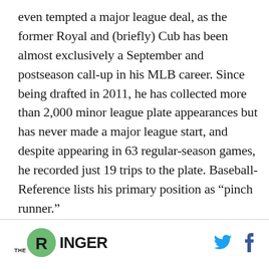even tempted a major league deal, as the former Royal and (briefly) Cub has been almost exclusively a September and postseason call-up in his MLB career. Since being drafted in 2011, he has collected more than 2,000 minor league plate appearances but has never made a major league start, and despite appearing in 63 regular-season games, he recorded just 19 trips to the plate. Baseball-Reference lists his primary position as “pinch runner.”
The Ringer